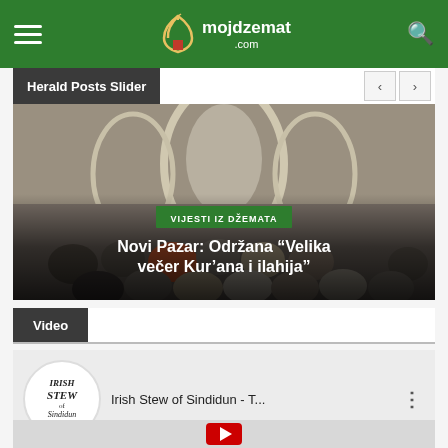mojdzemat.com
Herald Posts Slider
[Figure (photo): A mosque interior with crowd of people seated, ornate arched architecture visible in background]
VIJESTI IZ DŽEMATA
Novi Pazar: Održana “Velika večer Kur’ana i ilahija”
Video
[Figure (screenshot): YouTube video thumbnail for Irish Stew of Sindidun - T...]